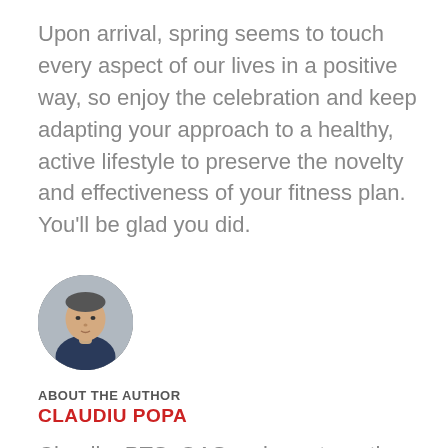Upon arrival, spring seems to touch every aspect of our lives in a positive way, so enjoy the celebration and keep adapting your approach to a healthy, active lifestyle to preserve the novelty and effectiveness of your fitness plan. You’ll be glad you did.
[Figure (photo): Circular headshot photo of a young man in a dark athletic jacket, with a light background]
ABOUT THE AUTHOR
CLAUDIU POPA
Claudiu, PTS, OAS, enjoys strength training and fitness conditioning, specializes in older adult